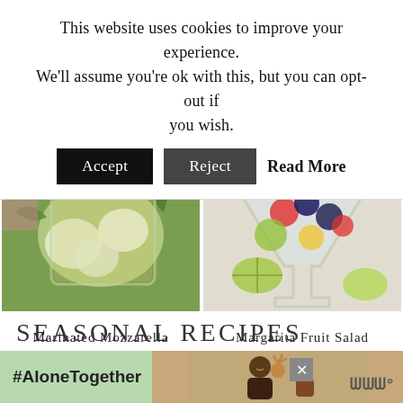This website uses cookies to improve your experience. We'll assume you're ok with this, but you can opt-out if you wish.
Accept | Reject | Read More
[Figure (photo): Marinated Mozzarella Balls in a glass jar with herbs and oil]
Marinated Mozzarella Balls
[Figure (photo): Margarita Fruit Salad in a martini glass with berries and lime]
Margarita Fruit Salad
SEASONAL RECIPES
[Figure (infographic): #AloneTogether advertisement banner with photo of smiling people]